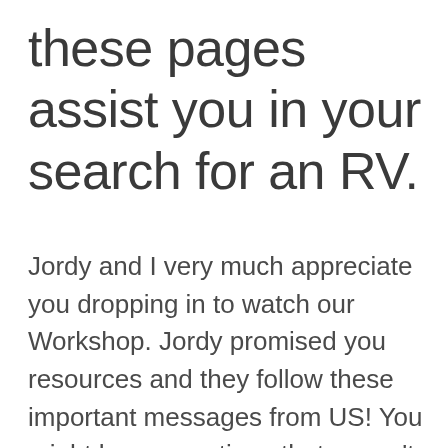these pages assist you in your search for an RV.
Jordy and I very much appreciate you dropping in to watch our Workshop. Jordy promised you resources and they follow these important messages from US! You might have questions that weren't covered, please ask them in the RVing Women and Friends facebook page (link below) there is a treasure of RVing knowledge there – Jordy